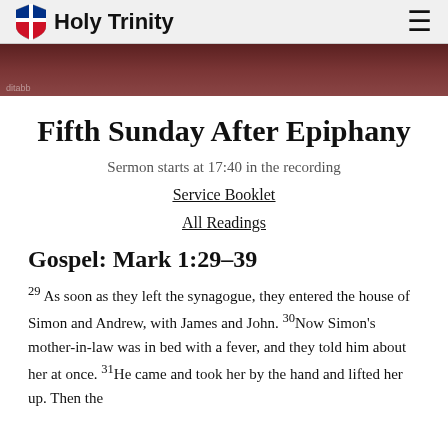Holy Trinity
[Figure (photo): Hero image of church interior with red pews]
Fifth Sunday After Epiphany
Sermon starts at 17:40 in the recording
Service Booklet
All Readings
Gospel: Mark 1:29–39
29 As soon as they left the synagogue, they entered the house of Simon and Andrew, with James and John. 30Now Simon's mother-in-law was in bed with a fever, and they told him about her at once. 31He came and took her by the hand and lifted her up. Then the